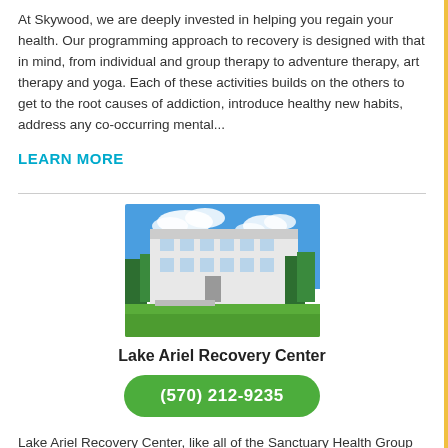At Skywood, we are deeply invested in helping you regain your health. Our programming approach to recovery is designed with that in mind, from individual and group therapy to adventure therapy, art therapy and yoga. Each of these activities builds on the others to get to the root causes of addiction, introduce healthy new habits, address any co-occurring mental...
LEARN MORE
[Figure (photo): Exterior photo of Lake Ariel Recovery Center building — a large white multi-story building with green lawn in foreground and blue sky with clouds in background.]
Lake Ariel Recovery Center
(570) 212-9235
Lake Ariel Recovery Center, like all of the Sanctuary Health Group facilities, is a medically proven recovery facility that provides comprehensive treatment for substance use and co-occurring disorders.  Sanctuary Health utilizes Everlasting Recovery, an approach that aligns our client's recovery